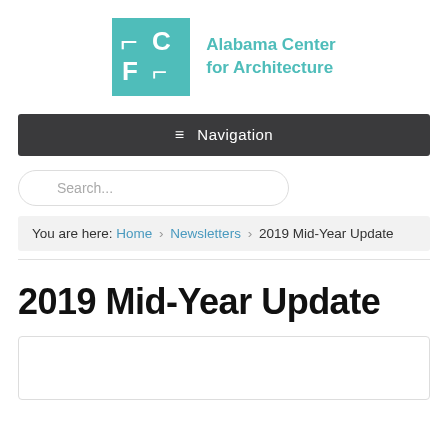[Figure (logo): Alabama Center for Architecture logo: teal square with stylized ACFAletterform in white, next to teal text reading 'Alabama Center for Architecture']
≡ Navigation
Search...
You are here: Home › Newsletters › 2019 Mid-Year Update
2019 Mid-Year Update